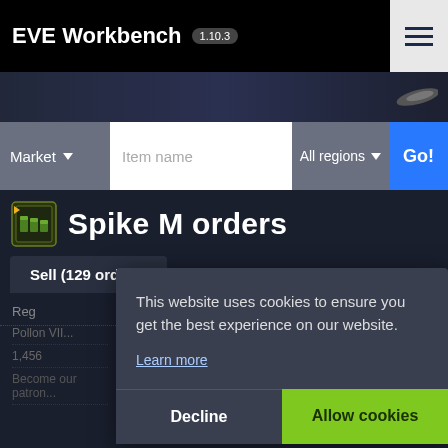EVE Workbench 1.10.3
Market ▾  Item name  All regions ▾  Go!
Spike M orders
Sell (129 orders)   Buy (40 orders)
Reg  M q
This website uses cookies to ensure you get the best experience on our website.
Learn more
Decline   Allow cookies